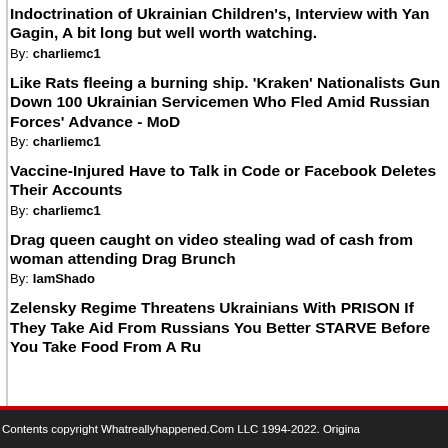Indoctrination of Ukrainian Children's, Interview with Yan Gagin, A bit long but well worth watching.
By: charliemc1
Like Rats fleeing a burning ship. 'Kraken' Nationalists Gun Down 100 Ukrainian Servicemen Who Fled Amid Russian Forces' Advance - MoD
By: charliemc1
Vaccine-Injured Have to Talk in Code or Facebook Deletes Their Accounts
By: charliemc1
Drag queen caught on video stealing wad of cash from woman attending Drag Brunch
By: IamShado
Zelensky Regime Threatens Ukrainians With PRISON If They Take Aid From Russians You Better STARVE Before You Take Food From A Ru...
Contents copyright Whatreallyhappened.Com LLC 1994-2022. Origina...